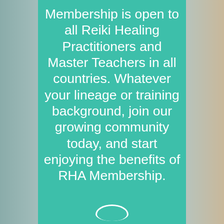[Figure (photo): Background photo of a woman in a meditative prayer pose with blurred face on left and hands on right, with a teal/green central panel overlay]
Membership is open to all Reiki Healing Practitioners and Master Teachers in all countries. Whatever your lineage or training background, join our growing community today, and start enjoying the benefits of RHA Membership.